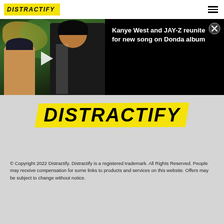DISTRACTIFY
[Figure (screenshot): Video thumbnail showing two men in discussion, with a play button overlay on the left half, and black panel on the right showing article title text]
Kanye West and JAY-Z reunite for new song on Donda album
[Figure (logo): Distractify logo centered on gray background with yellow brush stroke highlight]
© Copyright 2022 Distractify. Distractify is a registered trademark. All Rights Reserved. People may receive compensation for some links to products and services on this website. Offers may be subject to change without notice.